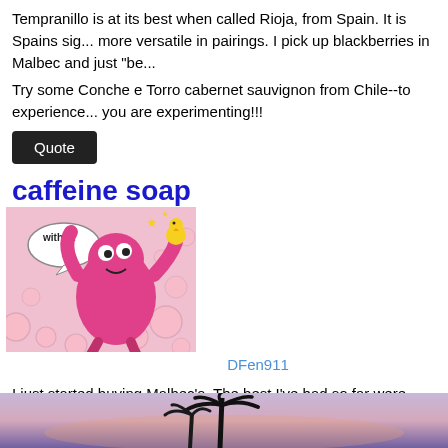Tempranillo is at its best when called Rioja, from Spain. It is Spains sig... more versatile in pairings. I pick up blackberries in Malbec and just "be...
Try some Conche e Torro cabernet sauvignon from Chile--to experience... you are experimenting!!!
Quote
[Figure (illustration): Caffeine soap advertisement featuring a cartoon pink monster character with bubbles, bold blue text reading 'caffeine soap' and 'with pt' in a speech bubble.]
DFen911
I just started buying Malbec's. The best I've had so far were from Argen...
Quote
[Figure (photo): Landscape photo of a sunset with palm tree silhouettes and purple/pink sky.]